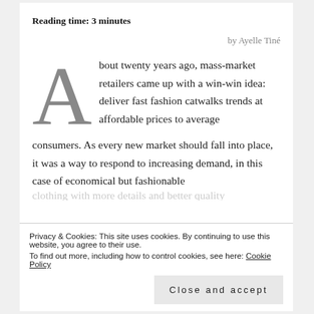Reading time: 3 minutes
by Ayelle Tiné
About twenty years ago, mass-market retailers came up with a win-win idea: deliver fast fashion catwalks trends at affordable prices to average consumers. As every new market should fall into place, it was a way to respond to increasing demand, in this case of economical but fashionable clothing…
Privacy & Cookies: This site uses cookies. By continuing to use this website, you agree to their use.
To find out more, including how to control cookies, see here: Cookie Policy
Close and accept